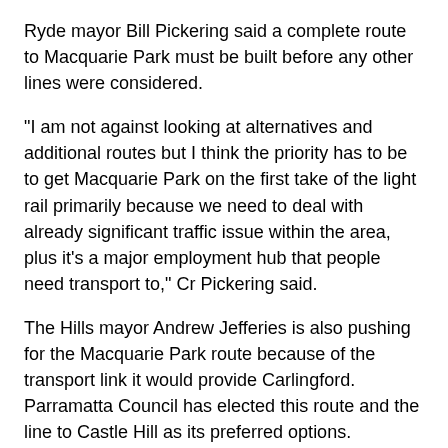Ryde mayor Bill Pickering said a complete route to Macquarie Park must be built before any other lines were considered.
"I am not against looking at alternatives and additional routes but I think the priority has to be to get Macquarie Park on the first take of the light rail primarily because we need to deal with already significant traffic issue within the area, plus it's a major employment hub that people need transport to," Cr Pickering said.
The Hills mayor Andrew Jefferies is also pushing for the Macquarie Park route because of the transport link it would provide Carlingford. Parramatta Council has elected this route and the line to Castle Hill as its preferred options.
"I am all too familiar with being promised the world of public transport and having nothing delivered," Cr Jefferies said at the Western Sydney Light Rail Conference held in Parramatta on Friday.
"It seems we are closer than ever to finally getting some decent public transport for this long ignored corner of western